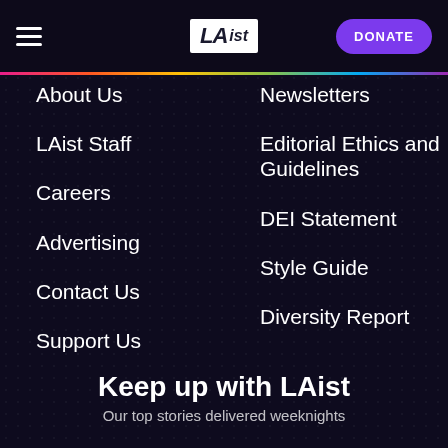LAist — DONATE
About Us
LAist Staff
Careers
Advertising
Contact Us
Support Us
Newsletters
Editorial Ethics and Guidelines
DEI Statement
Style Guide
Diversity Report
Keep up with LAist
Our top stories delivered weeknights